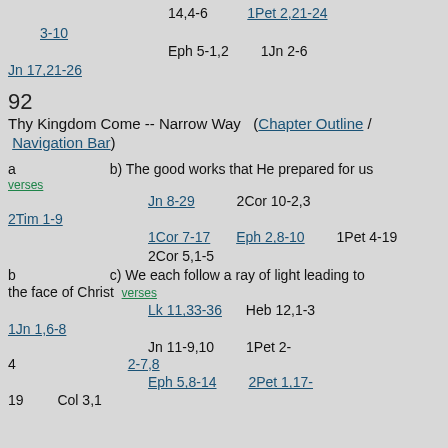14,4-6    1Pet 2,21-24
3-10
Eph 5-1,2    1Jn 2-6
Jn 17,21-26
92
Thy Kingdom Come -- Narrow Way (Chapter Outline / Navigation Bar)
a    b) The good works that He prepared for us verses
Jn 8-29    2Cor 10-2,3
2Tim 1-9
1Cor 7-17    Eph 2,8-10    1Pet 4-19
2Cor 5,1-5
b    c) We each follow a ray of light leading to the face of Christ verses
Lk 11,33-36    Heb 12,1-3
1Jn 1,6-8
Jn 11-9,10    1Pet 2-4    2-7,8
Eph 5,8-14    2Pet 1,17-
19    Col 3,1